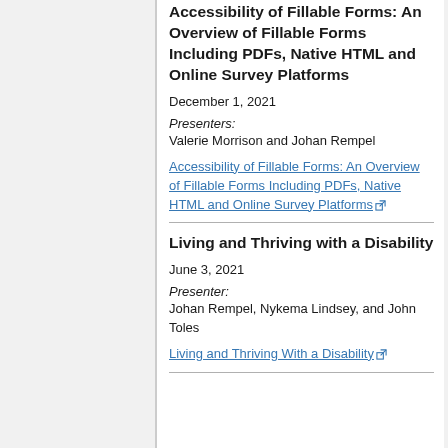Accessibility of Fillable Forms: An Overview of Fillable Forms Including PDFs, Native HTML and Online Survey Platforms
December 1, 2021
Presenters:
Valerie Morrison and Johan Rempel
Accessibility of Fillable Forms: An Overview of Fillable Forms Including PDFs, Native HTML and Online Survey Platforms [external link]
Living and Thriving with a Disability
June 3, 2021
Presenter:
Johan Rempel, Nykema Lindsey, and John Toles
Living and Thriving With a Disability [external link]